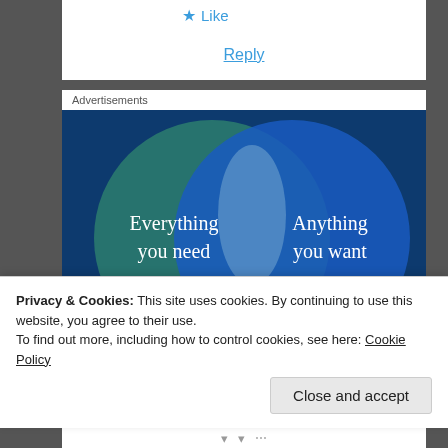★ Like
Reply
Advertisements
[Figure (infographic): Venn diagram advertisement showing two overlapping circles. Left circle (teal/green) labeled 'Everything you need', right circle (blue) labeled 'Anything you want', overlapping area is lighter blue. Dark blue background. Pink button partially visible at bottom.]
Privacy & Cookies: This site uses cookies. By continuing to use this website, you agree to their use.
To find out more, including how to control cookies, see here: Cookie Policy
Close and accept